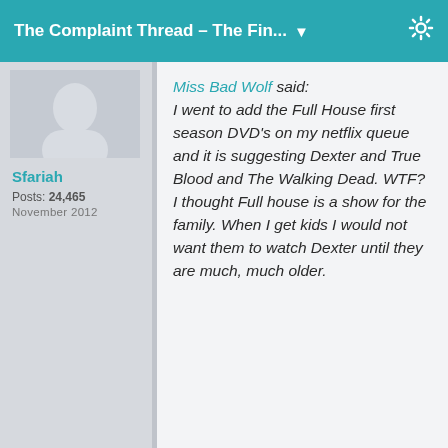The Complaint Thread – The Fin... ▼
[Figure (photo): User avatar photo, partial view of a person]
Sfariah
Posts: 24,465
November 2012
Miss Bad Wolf said: I went to add the Full House first season DVD's on my netflix queue and it is suggesting Dexter and True Blood and The Walking Dead. WTF? I thought Full house is a show for the family. When I get kids I would not want them to watch Dexter until they are much, much older.